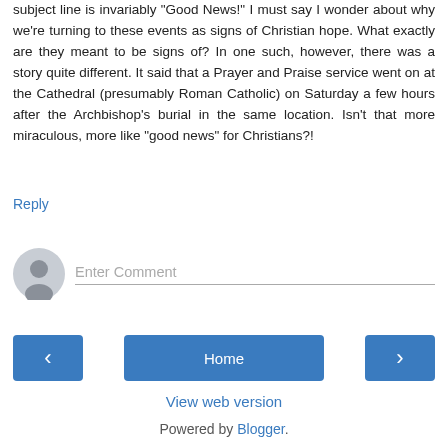subject line is invariably "Good News!" I must say I wonder about why we're turning to these events as signs of Christian hope. What exactly are they meant to be signs of? In one such, however, there was a story quite different. It said that a Prayer and Praise service went on at the Cathedral (presumably Roman Catholic) on Saturday a few hours after the Archbishop's burial in the same location. Isn't that more miraculous, more like "good news" for Christians?!
Reply
Enter Comment
Home
View web version
Powered by Blogger.